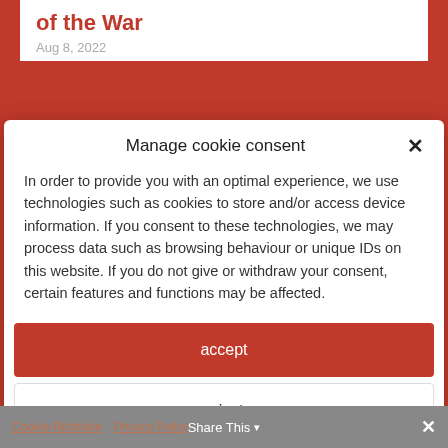of the War
Aug 8, 2022
Manage cookie consent
In order to provide you with an optimal experience, we use technologies such as cookies to store and/or access device information. If you consent to these technologies, we may process data such as browsing behaviour or unique IDs on this website. If you do not give or withdraw your consent, certain features and functions may be affected.
accept
reject
view settings
Cookie-Richtlinie  Privacy Policy  Share This  ×